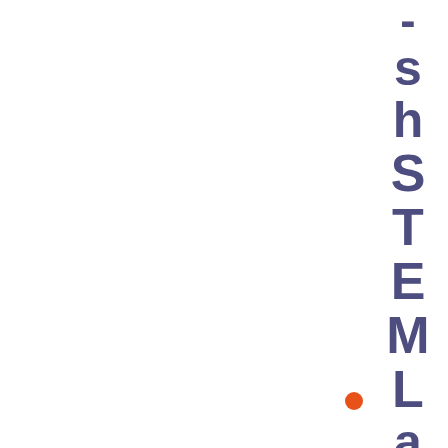- s h S T E M L a b ( T R ) F C I